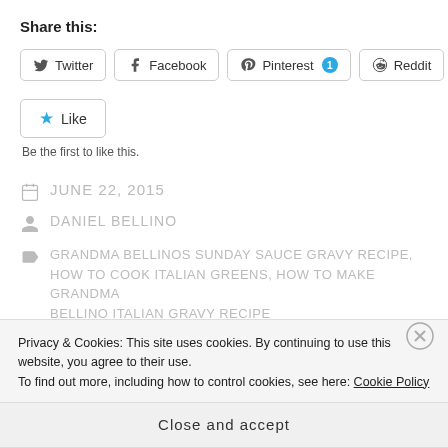Share this:
Twitter  Facebook  Pinterest 1  Reddit
[Figure (other): Like button widget with star icon and Like text]
Be the first to like this.
JUNE 22, 2015
DANIEL BELLINO
GRANDMA BELLINOS SUNDAY SAUCE GRAVY RECIPE, HOW TO COOK ITALIAN GREENS, HOW TO MAKE GRANDMA BELLINO ITALIAN GRAVY RECIPE
Privacy & Cookies: This site uses cookies. By continuing to use this website, you agree to their use.
To find out more, including how to control cookies, see here: Cookie Policy
Close and accept